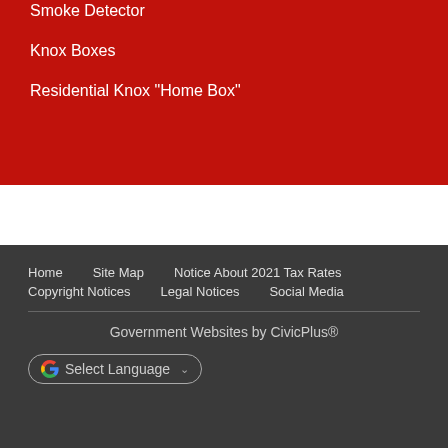Smoke Detector
Knox Boxes
Residential Knox "Home Box"
Home  Site Map  Notice About 2021 Tax Rates  Copyright Notices  Legal Notices  Social Media
Government Websites by CivicPlus®
Select Language